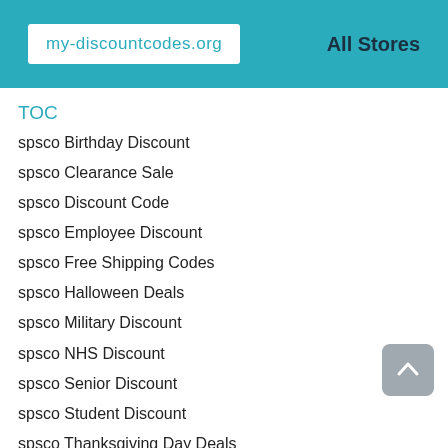my-discountcodes.org | All Stores
TOC
spsco Birthday Discount
spsco Clearance Sale
spsco Discount Code
spsco Employee Discount
spsco Free Shipping Codes
spsco Halloween Deals
spsco Military Discount
spsco NHS Discount
spsco Senior Discount
spsco Student Discount
spsco Thanksgiving Day Deals
spsco Winter Sales
Popular Stores